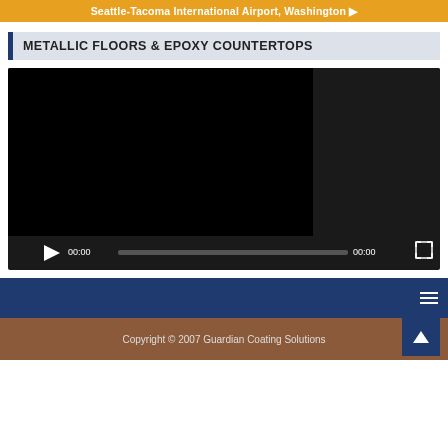Seattle-Tacoma International Airport, Washington ▶
METALLIC FLOORS & EPOXY COUNTERTOPS
[Figure (screenshot): Embedded video player with black screen, play button, time displays showing 00:00, progress bar, and fullscreen button on dark background]
Copyright © 2007 Guardian Coating Solutions